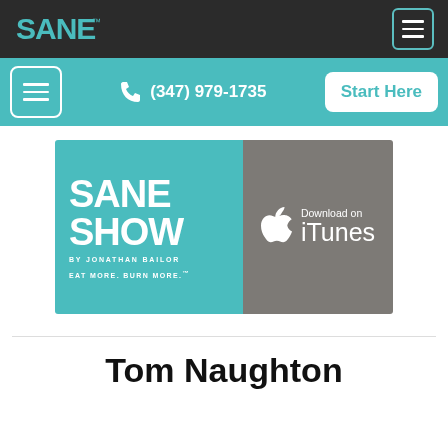SANE logo and navigation menu button
Menu | (347) 979-1735 | Start Here
[Figure (logo): SANE Show podcast banner with iTunes download. Left teal panel: SANE SHOW by Jonathan Bailor, EAT MORE. BURN MORE. Right gray panel: Apple logo Download on iTunes.]
Tom Naughton